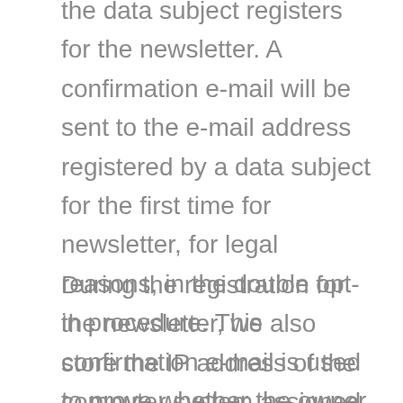the data subject registers for the newsletter. A confirmation e-mail will be sent to the e-mail address registered by a data subject for the first time for newsletter, for legal reasons, in the double opt-in procedure. This confirmation e-mail is used to prove whether the owner of the e-mail address as the data subject is authorized to receive the newsletter.
During the registration for the newsletter, we also store the IP address of the computer system assigned by the Internet service provider (ISP) and used by